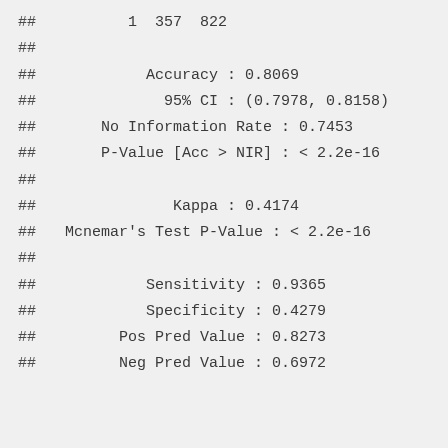## 1 357 822
##
## Accuracy : 0.8069
## 95% CI : (0.7978, 0.8158)
## No Information Rate : 0.7453
## P-Value [Acc > NIR] : < 2.2e-16
##
## Kappa : 0.4174
## Mcnemar's Test P-Value : < 2.2e-16
##
## Sensitivity : 0.9365
## Specificity : 0.4279
## Pos Pred Value : 0.8273
## Neg Pred Value : 0.6972